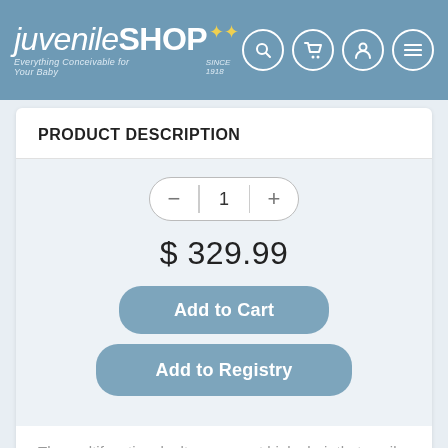[Figure (logo): juvenileSHOP logo with tagline 'Everything Conceivable for Your Baby' and 'SINCE 1918', with star decorations, and navigation icons for search, cart, user, and menu]
PRODUCT DESCRIPTION
1 (quantity selector with minus and plus buttons)
$ 329.99
Add to Cart
Add to Registry
The multifunctional, ultra-compact high chair that easily accommodates a child's growth. From birth, the Siesta can be used as a recliner or as a high chair for feeding, playing and resting. The removable tray and multiple height